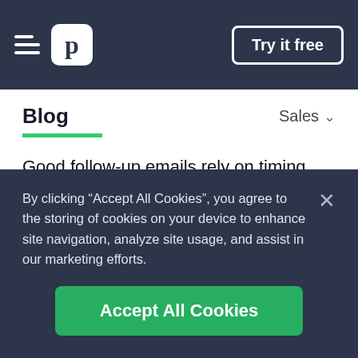p | Try it free
Blog  Sales
Good follow-up emails rely on timing. Knowing how long to wait, time of day and days of the week to send your follow-up emails will help you generate a more generous response rate.
Here are the different types of follow-up emails you...
By clicking “Accept All Cookies”, you agree to the storing of cookies on your device to enhance site navigation, analyze site usage, and assist in our marketing efforts.
Accept All Cookies